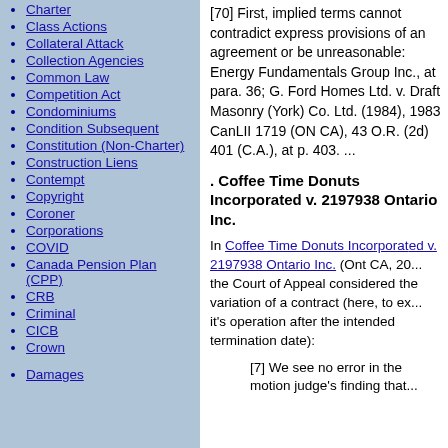Charter
Class Actions
Collateral Attack
Collection Agencies
Common Law
Competition Act
Condominiums
Condition Subsequent
Constitution (Non-Charter)
Construction Liens
Contempt
Copyright
Coroner
Corporations
COVID
Canada Pension Plan (CPP)
CRB
Criminal
CICB
Crown
Damages
[70] First, implied terms cannot contradict express provisions of an agreement or be unreasonable: Energy Fundamentals Group Inc., at para. 36; G. Ford Homes Ltd. v. Draft Masonry (York) Co. Ltd. (1984), 1983 CanLII 1719 (ON CA), 43 O.R. (2d) 401 (C.A.), at p. 403. ...
. Coffee Time Donuts Incorporated v. 2197938 Ontario Inc.
In Coffee Time Donuts Incorporated v. 2197938 Ontario Inc. (Ont CA, 20... the Court of Appeal considered the variation of a contract (here, to extend it's operation after the intended termination date):
[7] We see no error in the motion judge's finding that...